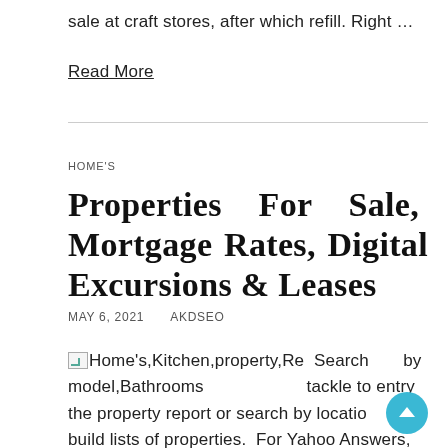sale at craft stores, after which refill. Right …
Read More
HOME'S
Properties For Sale, Mortgage Rates, Digital Excursions & Leases
MAY 6, 2021   AKDSEO
Home's,Kitchen,property,Remodel,Bathrooms  Search by tackle to entry the property report or search by location to build lists of properties. For Yahoo Answers,